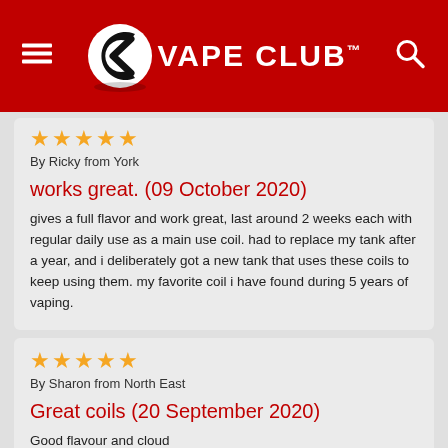VAPE CLUB™
By Ricky from York
works great. (09 October 2020)
gives a full flavor and work great, last around 2 weeks each with regular daily use as a main use coil. had to replace my tank after a year, and i deliberately got a new tank that uses these coils to keep using them. my favorite coil i have found during 5 years of vaping.
By Sharon from North East
Great coils (20 September 2020)
Good flavour and cloud